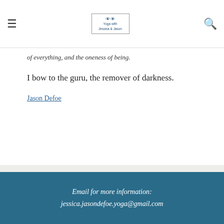Yoga with Jessica & Jason — navigation header with logo and search
of everything, and the oneness of being.
I bow to the guru, the remover of darkness.
Jason Defoe
Black and white photo by Bree Gaudette - Love Bree Photography
Logo by Lucas Gaudette
Email for more information: jessica.jasondefoe.yoga@gmail.com